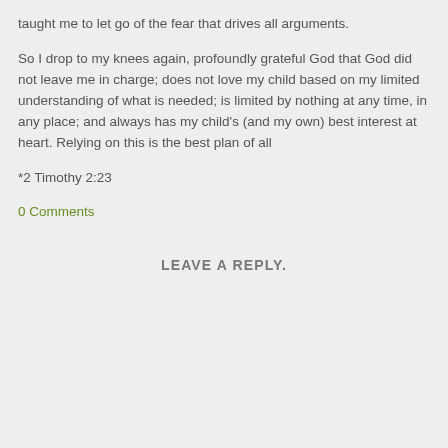taught me to let go of the fear that drives all arguments.
So I drop to my knees again, profoundly grateful God that God did not leave me in charge; does not love my child based on my limited understanding of what is needed; is limited by nothing at any time, in any place; and always has my child's (and my own) best interest at heart. Relying on this is the best plan of all
*2 Timothy 2:23
0 Comments
LEAVE A REPLY.